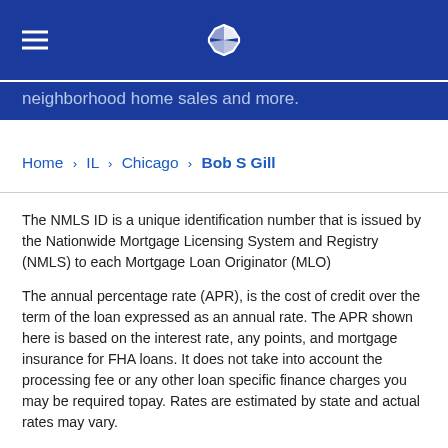Chase bank header with hamburger menu and Chase logo
neighborhood home sales and more.
Home > IL > Chicago > Bob S Gill
The NMLS ID is a unique identification number that is issued by the Nationwide Mortgage Licensing System and Registry (NMLS) to each Mortgage Loan Originator (MLO)
The annual percentage rate (APR), is the cost of credit over the term of the loan expressed as an annual rate. The APR shown here is based on the interest rate, any points, and mortgage insurance for FHA loans. It does not take into account the processing fee or any other loan specific finance charges you may be required topay. Rates are estimated by state and actual rates may vary.
Rate, points and APR may be adjusted based on several